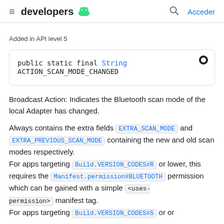≡ developers 🤖   🔍 Acceder
Added in API level 5
public static final String ACTION_SCAN_MODE_CHANGED
Broadcast Action: Indicates the Bluetooth scan mode of the local Adapter has changed.
Always contains the extra fields EXTRA_SCAN_MODE and EXTRA_PREVIOUS_SCAN_MODE containing the new and old scan modes respectively.
For apps targeting Build.VERSION_CODES#R or lower, this requires the Manifest.permission#BLUETOOTH permission which can be gained with a simple <uses-permission> manifest tag.
For apps targeting Build.VERSION_CODES#S or or